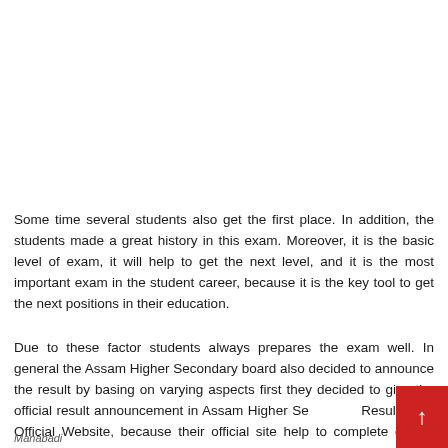Some time several students also get the first place. In addition, the students made a great history in this exam. Moreover, it is the basic level of exam, it will help to get the next level, and it is the most important exam in the student career, because it is the key tool to get the next positions in their education.
Due to these factor students always prepares the exam well. In general the Assam Higher Secondary board also decided to announce the result by basing on varying aspects first they decided to give the official result announcement in Assam Higher Secondary Result 2017 Official Website, because their official site help to complete details about the Assam Board result 2017.
Manabadi